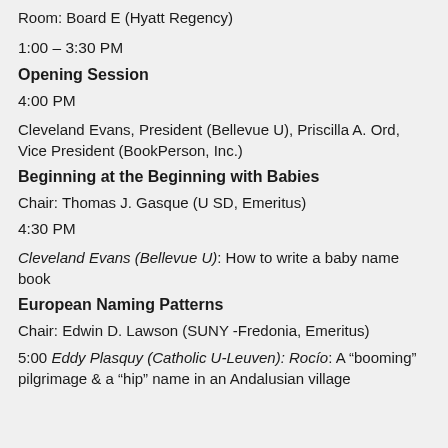Room: Board E (Hyatt Regency)
1:00 – 3:30 PM
Opening Session
4:00 PM
Cleveland Evans, President (Bellevue U), Priscilla A. Ord, Vice President (BookPerson, Inc.)
Beginning at the Beginning with Babies
Chair: Thomas J. Gasque (U SD, Emeritus)
4:30 PM
Cleveland Evans (Bellevue U): How to write a baby name book
European Naming Patterns
Chair: Edwin D. Lawson (SUNY -Fredonia, Emeritus)
5:00 Eddy Plasquy (Catholic U-Leuven): Rocío: A "booming" pilgrimage & a "hip" name in an Andalusian village